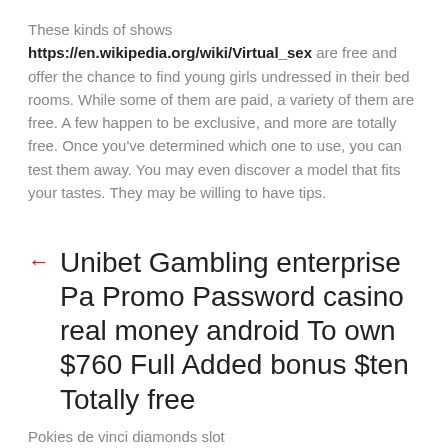These kinds of shows https://en.wikipedia.org/wiki/Virtual_sex are free and offer the chance to find young girls undressed in their bed rooms. While some of them are paid, a variety of them are free. A few happen to be exclusive, and more are totally free. Once you've determined which one to use, you can test them away. You may even discover a model that fits your tastes. They may be willing to have tips.
← Unibet Gambling enterprise Pa Promo Password casino real money android To own $760 Full Added bonus $ten Totally free
Pokies de vinci diamonds slot